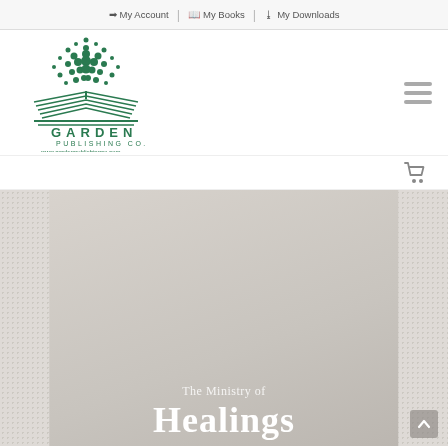My Account | My Books | My Downloads
[Figure (logo): Garden Publishing Co. logo with open book and dot pattern above, green color scheme, www.gardenpublishingco.com]
[Figure (illustration): Shopping cart icon]
[Figure (photo): Book cover for 'The Ministry of Healings' on a gray textured background]